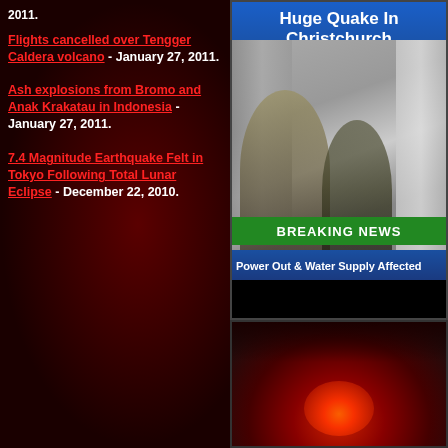2011.
Flights cancelled over Tengger Caldera volcano - January 27, 2011.
Ash explosions from Bromo and Anak Krakatau in Indonesia - January 27, 2011.
7.4 Magnitude Earthquake Felt in Tokyo Following Total Lunar Eclipse - December 22, 2010.
[Figure (screenshot): TV news broadcast screenshot showing headline 'Huge Quake In Christchurch' with breaking news banner 'BREAKING NEWS' in green and ticker 'Power Out & Water Supply Affected' in blue, showing people near a damaged building.]
[Figure (photo): Glowing red/orange light source on dark red background, lower right panel of the page.]